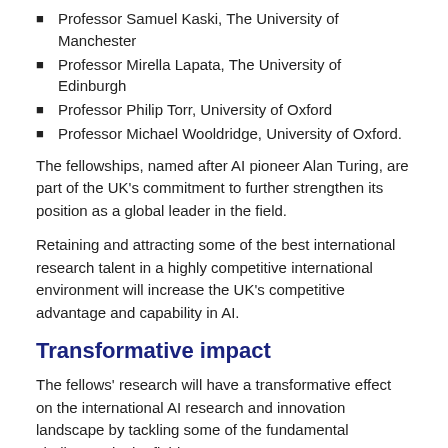Professor Samuel Kaski, The University of Manchester
Professor Mirella Lapata, The University of Edinburgh
Professor Philip Torr, University of Oxford
Professor Michael Wooldridge, University of Oxford.
The fellowships, named after AI pioneer Alan Turing, are part of the UK's commitment to further strengthen its position as a global leader in the field.
Retaining and attracting some of the best international research talent in a highly competitive international environment will increase the UK's competitive advantage and capability in AI.
Transformative impact
The fellows' research will have a transformative effect on the international AI research and innovation landscape by tackling some of the fundamental challenges in the field.
It could also deliver major societal impact in areas including: